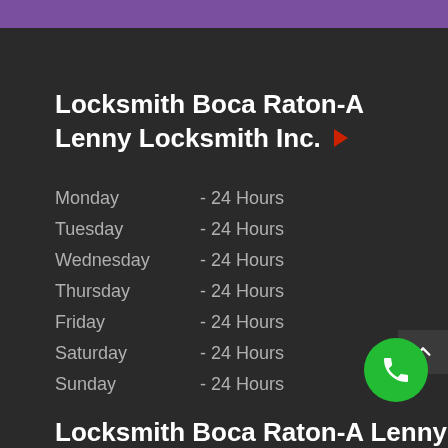Locksmith Boca Raton-A Lenny Locksmith Inc.
Monday    - 24 Hours
Tuesday    - 24 Hours
Wednesday  - 24 Hours
Thursday   - 24 Hours
Friday     - 24 Hours
Saturday   - 24 Hours
Sunday     - 24 Hours
Locksmith Boca Raton-A Lenny